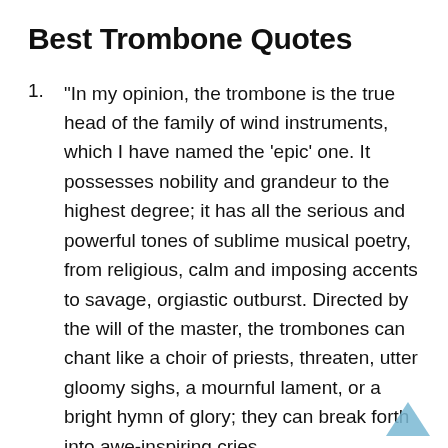Best Trombone Quotes
“In my opinion, the trombone is the true head of the family of wind instruments, which I have named the ‘epic’ one. It possesses nobility and grandeur to the highest degree; it has all the serious and powerful tones of sublime musical poetry, from religious, calm and imposing accents to savage, orgiastic outburst. Directed by the will of the master, the trombones can chant like a choir of priests, threaten, utter gloomy sighs, a mournful lament, or a bright hymn of glory; they can break forth into awe-inspiring cries